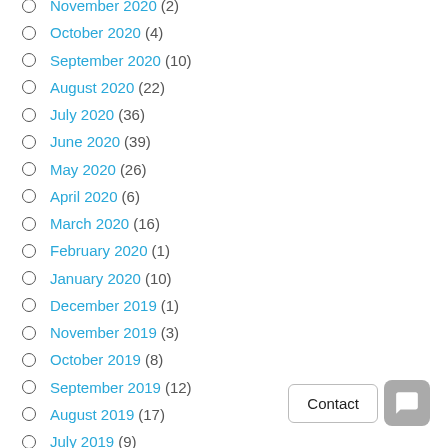November 2020 (2)
October 2020 (4)
September 2020 (10)
August 2020 (22)
July 2020 (36)
June 2020 (39)
May 2020 (26)
April 2020 (6)
March 2020 (16)
February 2020 (1)
January 2020 (10)
December 2019 (1)
November 2019 (3)
October 2019 (8)
September 2019 (12)
August 2019 (17)
July 2019 (9)
May 2019 (3)
February 2019 (4)